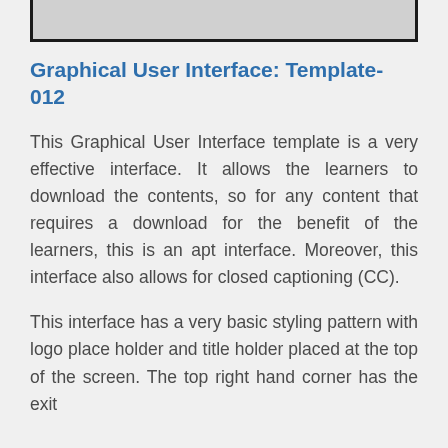[Figure (screenshot): Bottom portion of a UI screenshot showing a dark bordered rectangle partially visible at the top of the page.]
Graphical User Interface: Template-012
This Graphical User Interface template is a very effective interface. It allows the learners to download the contents, so for any content that requires a download for the benefit of the learners, this is an apt interface. Moreover, this interface also allows for closed captioning (CC).
This interface has a very basic styling pattern with logo place holder and title holder placed at the top of the screen. The top right hand corner has the exit